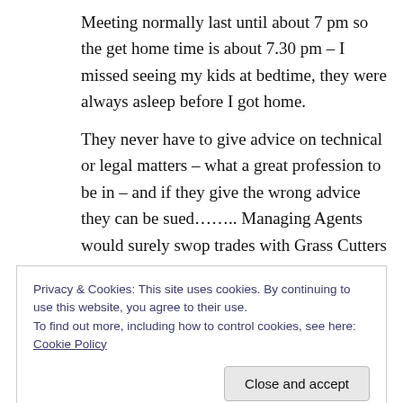Meeting normally last until about 7 pm so the get home time is about 7.30 pm – I missed seeing my kids at bedtime, they were always asleep before I got home.
They never have to give advice on technical or legal matters – what a great profession to be in – and if they give the wrong advice they can be sued…….. Managing Agents would surely swop trades with Grass Cutters any day.
Having said the above – I must admit in the last
Privacy & Cookies: This site uses cookies. By continuing to use this website, you agree to their use.
To find out more, including how to control cookies, see here: Cookie Policy